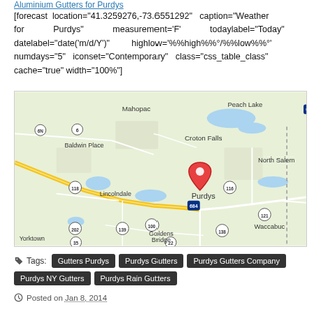Aluminium Gutters for Purdys
[forecast location="41.3259276,-73.6551292" caption="Weather for Purdys" measurement='F' todaylabel="Today" datelabel="date('m/d/Y')" highlow='%%high%%°/%%low%%°' numdays="5" iconset="Contemporary" class="css_table_class" cache="true" width="100%"]
[Figure (map): Google map showing Purdys, NY area with a red location pin on Purdys. Surrounding areas visible include Mahopac, Baldwin Place, Lincolndale, Croton Falls, North Salem, Peach Lake, Goldens Bridge, Waccabuc, Yorktown. Roads including I-684, Route 6, Route 118, Route 116, Route 100, Route 139, Route 202, Route 35, Route 22, Route 138, Route 121 are visible.]
Tags: Gutters Purdys  Purdys Gutters  Purdys Gutters Company  Purdys NY Gutters  Purdys Rain Gutters
Posted on Jan 8, 2014